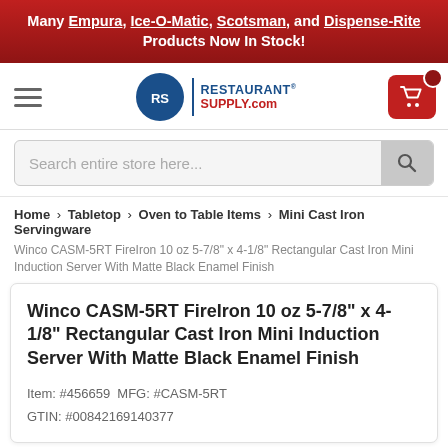Many Empura, Ice-O-Matic, Scotsman, and Dispense-Rite Products Now In Stock!
[Figure (logo): RestaurantSupply.com logo with blue RS circle and navigation bar including hamburger menu and cart button]
Search entire store here...
Home > Tabletop > Oven to Table Items > Mini Cast Iron Servingware
Winco CASM-5RT FireIron 10 oz 5-7/8" x 4-1/8" Rectangular Cast Iron Mini Induction Server With Matte Black Enamel Finish
Winco CASM-5RT FireIron 10 oz 5-7/8" x 4-1/8" Rectangular Cast Iron Mini Induction Server With Matte Black Enamel Finish
Item: #456659  MFG: #CASM-5RT
GTIN: #00842169140377